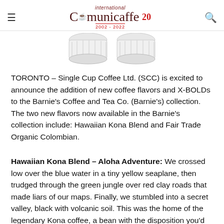international Comunicaffe 20 · 2002-2022
[Figure (photo): Two white single-serve coffee capsules/pods side by side, viewed from above at an angle, showing the cup shape with ridged sides and flat bases.]
TORONTO – Single Cup Coffee Ltd. (SCC) is excited to announce the addition of new coffee flavors and X-BOLDs to the Barnie's Coffee and Tea Co. (Barnie's) collection. The two new flavors now available in the Barnie's collection include: Hawaiian Kona Blend and Fair Trade Organic Colombian.
Hawaiian Kona Blend – Aloha Adventure: We crossed low over the blue water in a tiny yellow seaplane, then trudged through the green jungle over red clay roads that made liars of our maps. Finally, we stumbled into a secret valley, black with volcanic soil. This was the home of the legendary Kona coffee, a bean with the disposition you'd